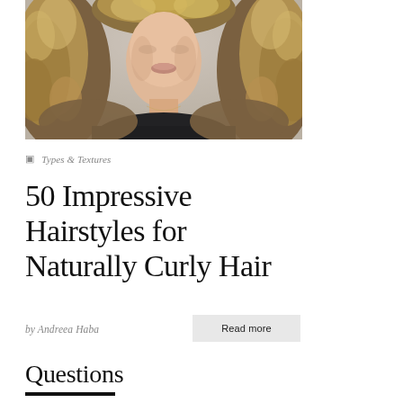[Figure (photo): Woman with long, voluminous naturally curly/wavy hair with highlights, wearing a dark top, photographed from shoulders up against a light background.]
Types & Textures
50 Impressive Hairstyles for Naturally Curly Hair
by Andreea Haba
Read more
Questions